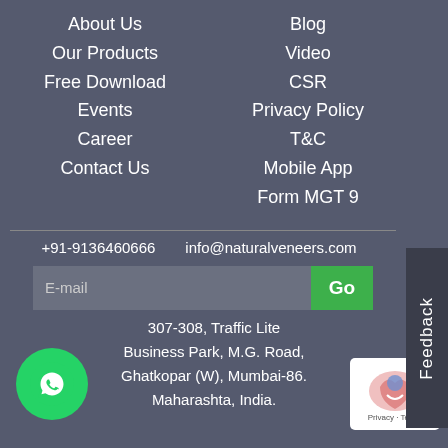About Us
Blog
Our Products
Video
Free Download
CSR
Events
Privacy Policy
Career
T&C
Contact Us
Mobile App
Form MGT 9
+91-9136460666
info@naturalveneers.com
E-mail
307-308, Traffic Lite Business Park, M.G. Road, Ghatkopar (W), Mumbai-86. Maharashta, India.
Feedback